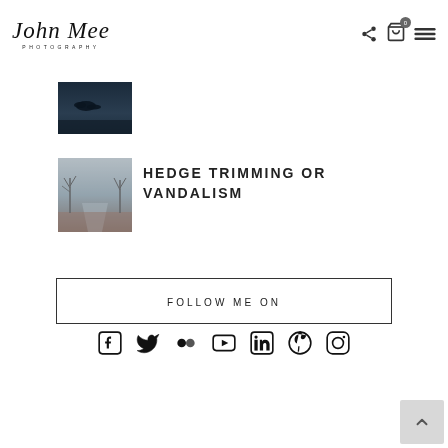John Mee Photography — navigation header with share, cart (0), and menu icons
[Figure (photo): Dark moody landscape photo — silhouette of bird or object against dark blue sky over water]
[Figure (photo): Misty road scene with bare winter trees and reddish ground, foggy atmospheric landscape]
HEDGE TRIMMING OR VANDALISM
FOLLOW ME ON
[Figure (infographic): Row of social media icons: Facebook, Twitter, Flickr, YouTube, LinkedIn, Pinterest, Instagram]